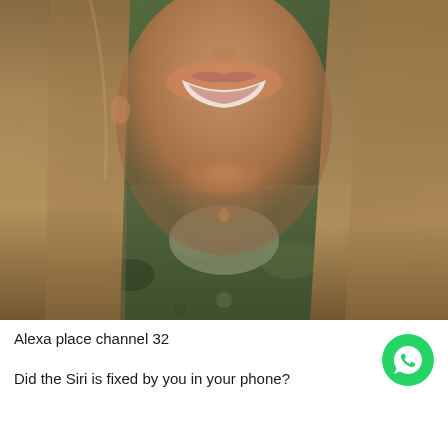[Figure (photo): Close-up photo of a smiling young woman with long blonde hair wearing a camouflage jacket and a delicate necklace, with a blurred green outdoor background]
Alexa place channel 32
Did the Siri is fixed by you in your phone?